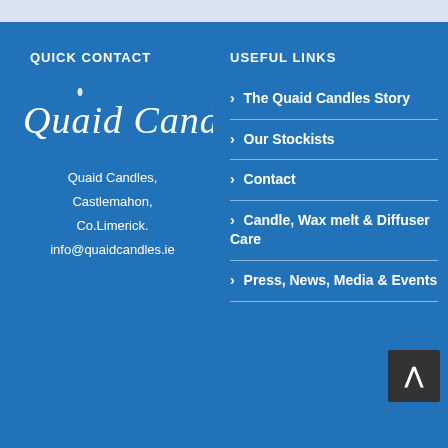QUICK CONTACT
[Figure (logo): Quaid Candles script logo in white italic text]
Quaid Candles,
Castlemahon,
Co.Limerick.
info@quaidcandles.ie
USEFUL LINKS
The Quaid Candles Story
Our Stockists
Contact
Candle, Wax melt & Diffuser Care
Press, News, Media & Events